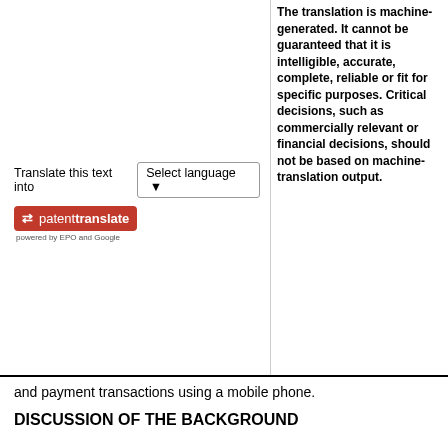Translate this text into  Select language
[Figure (logo): PatentTranslate logo: red rectangle with white arrow icon and 'patenttranslate' text, powered by EPO and Google]
The translation is machine-generated. It cannot be guaranteed that it is intelligible, accurate, complete, reliable or fit for specific purposes. Critical decisions, such as commercially relevant or financial decisions, should not be based on machine-translation output.
and payment transactions using a mobile phone.
DISCUSSION OF THE BACKGROUND